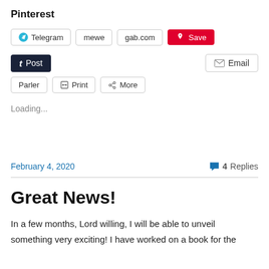Pinterest
Telegram  mewe  gab.com  Save
Post  Email
Parler  Print  More
Loading...
February 4, 2020  4 Replies
Great News!
In a few months, Lord willing, I will be able to unveil something very exciting! I have worked on a book for the